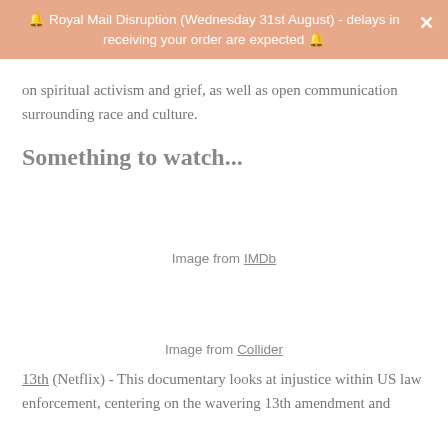🔔 Royal Mail Disruption (Wednesday 31st August) - delays in receiving your order are expected 🔔
on spiritual activism and grief, as well as open communication surrounding race and culture.
Something to watch...
Image from IMDb
Image from Collider
13th (Netflix) - This documentary looks at injustice within US law enforcement, centering on the wavering 13th amendment and